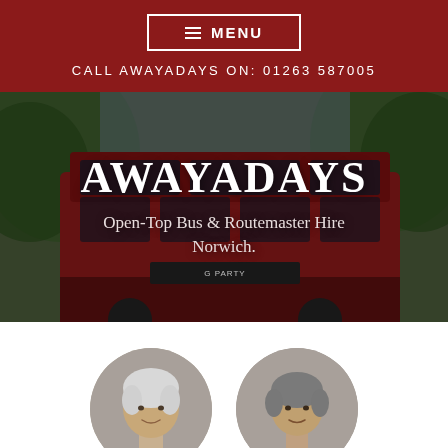≡ MENU
CALL AWAYADAYS ON: 01263 587005
[Figure (photo): Photo of a red double-decker Routemaster bus with trees in background, overlaid with text AWAYADAYS and Open-Top Bus & Routemaster Hire Norwich.]
AWAYADAYS
Open-Top Bus & Routemaster Hire Norwich.
[Figure (photo): Two circular portrait photos of an elderly woman with short white hair and an elderly man, both smiling.]